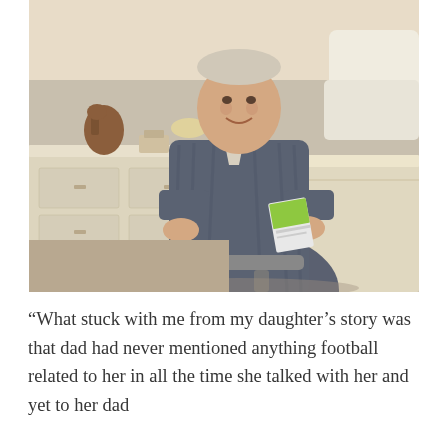[Figure (photo): An older man in a blue-grey striped shirt sits in an office chair at a desk, smiling and holding a green-and-white booklet or pamphlet. Behind him is an ornate white desk with a horse sculpture, a telephone, and a white armchair. The room has warm lighting and carpeted floors.]
“What stuck with me from my daughter’s story was that dad had never mentioned anything football related to her in all the time she talked with her and yet to her dad